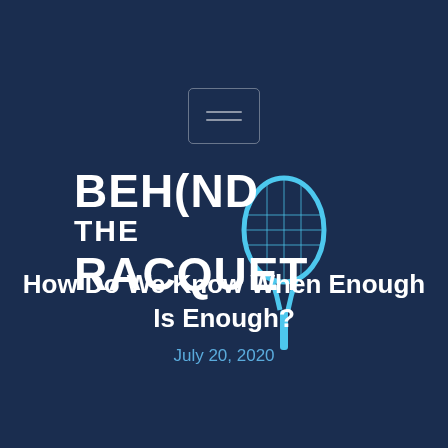[Figure (logo): Behind The Racquet logo with cyan tennis racquet illustration and white bold text reading BEH(ND THE RACQUET, plus a hamburger menu button above]
How Do We Know When Enough Is Enough?
July 20, 2020